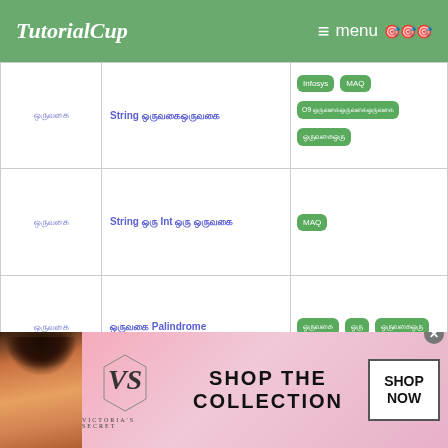TutorialCup  ≡ menu 🎯🎯🎯
|  |  | Tags |  |
| --- | --- | --- | --- |
| ஒருவகை | String ஒருவகைஒருவகை | Infosys  MAQ  O9 ஒருவகைஒருவகைஒருவகை  ஒருவகைஒரு | ஒரு |
| ஒருவகை | String ஒரு Int ஒரு ஒருவகை | MAQ | ஒரு |
| ஒருவகை | ஒருவகை Palindrome | ஒருவகை  ஒரு  ஒருவகைஒரு | ஒரு |
|  |  | Apple  Google | ஒரு |
[Figure (photo): Victoria's Secret advertisement banner with woman model, VS logo, 'SHOP THE COLLECTION' text, and 'SHOP NOW' button]